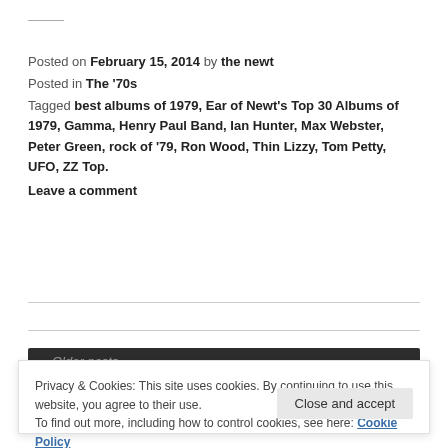Posted on February 15, 2014 by the newt
Posted in The ’70s
Tagged best albums of 1979, Ear of Newt’s Top 30 Albums of 1979, Gamma, Henry Paul Band, Ian Hunter, Max Webster, Peter Green, rock of ’79, Ron Wood, Thin Lizzy, Tom Petty, UFO, ZZ Top.
Leave a comment
Privacy & Cookies: This site uses cookies. By continuing to use this website, you agree to their use.
To find out more, including how to control cookies, see here: Cookie Policy
Close and accept